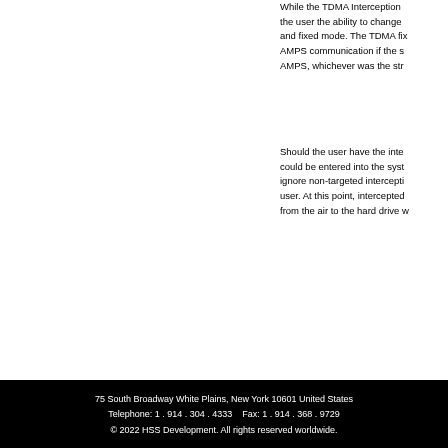While the TDMA Interception the user the ability to change and fixed mode. The TDMA fix AMPS communication if the s AMPS, whichever was the str
Should the user have the inte could be entered into the syst ignore non-targeted intercepti user. At this point, intercepted from the air to the hard drive
75 South Broadway White Plains, New York 10601 United States Telephone: 1 . 914 . 304 . 4333    Fax: 1 . 914 . 368 . 9729 © 2022 HSS Development. All rights reserved worldwide.